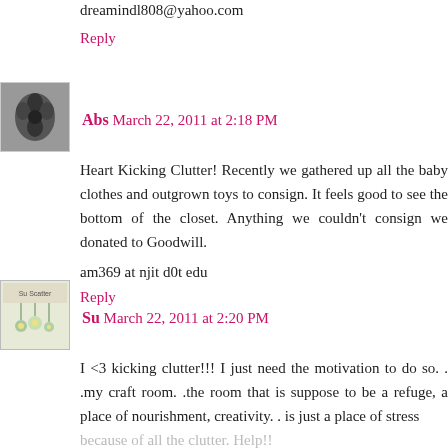dreamindl808@yahoo.com
Reply
Abs  March 22, 2011 at 2:18 PM
Heart Kicking Clutter! Recently we gathered up all the baby clothes and outgrown toys to consign. It feels good to see the bottom of the closet. Anything we couldn't consign we donated to Goodwill.
am369 at njit d0t edu
Reply
Su  March 22, 2011 at 2:20 PM
I <3 kicking clutter!!! I just need the motivation to do so. . .my craft room. .the room that is suppose to be a refuge, a place of nourishment, creativity. . is just a place of stress because of all the clutter. Help!!
Thanks so much for the opportunity to win!!!
Reply